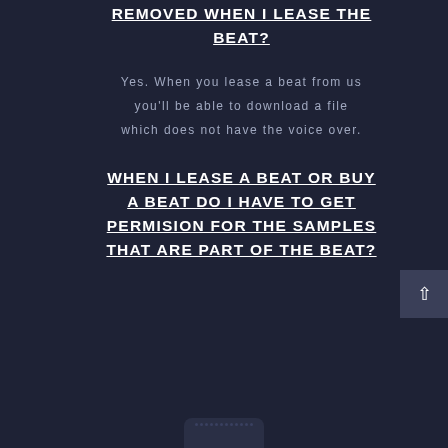REMOVED WHEN I LEASE THE BEAT?
Yes. When you lease a beat from us you'll be able to download a file which does not have the voice over.
WHEN I LEASE A BEAT OR BUY A BEAT DO I HAVE TO GET PERMISION FOR THE SAMPLES THAT ARE PART OF THE BEAT?